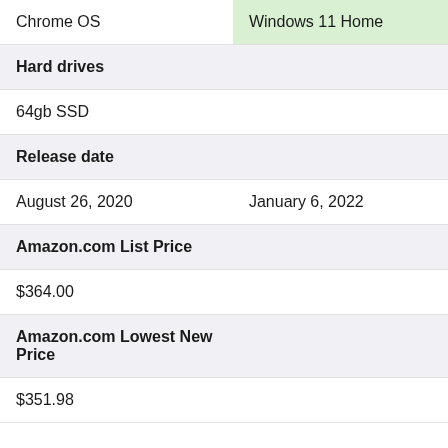| Chrome OS | Windows 11 Home |
| --- | --- |
| Hard drives |  |
| 64gb SSD |  |
| Release date |  |
| August 26, 2020 | January 6, 2022 |
| Amazon.com List Price |  |
| $364.00 |  |
| Amazon.com Lowest New Price |  |
| $351.98 |  |